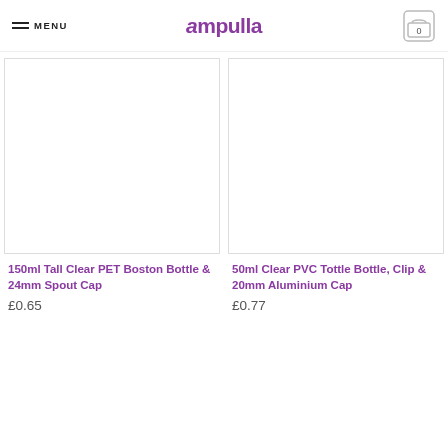MENU | Ampulla | Cart 0
[Figure (photo): Product image placeholder for 150ml Tall Clear PET Boston Bottle & 24mm Spout Cap]
150ml Tall Clear PET Boston Bottle & 24mm Spout Cap
£0.65
[Figure (photo): Product image placeholder for 50ml Clear PVC Tottle Bottle, Clip & 20mm Aluminium Cap]
50ml Clear PVC Tottle Bottle, Clip & 20mm Aluminium Cap
£0.77